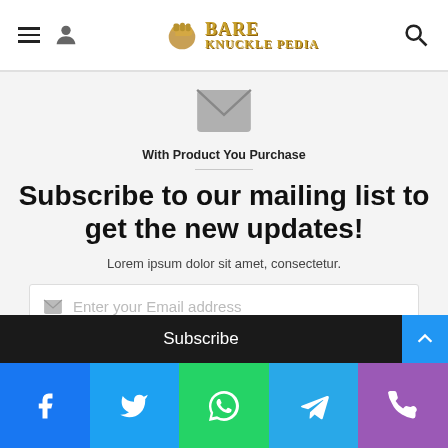Bare Knuckle Pedia - navigation header with hamburger menu, user icon, logo, and search icon
[Figure (illustration): Envelope/email icon in grey]
With Product You Purchase
Subscribe to our mailing list to get the new updates!
Lorem ipsum dolor sit amet, consectetur.
[Figure (screenshot): Email input field with envelope icon and placeholder text 'Enter your Email address']
Subscribe
[Figure (infographic): Social share bar with Facebook, Twitter, WhatsApp, Telegram, and phone icons]